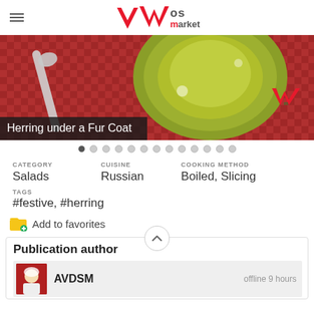Vos market
[Figure (photo): Photo of herring salad on a green plate with a spoon, red checkered tablecloth. Caption overlay: 'Herring under a Fur Coat'. Vosmarket logo watermark in bottom right.]
CATEGORY
Salads
CUISINE
Russian
COOKING METHOD
Boiled, Slicing
TAGS
#festive, #herring
Add to favorites
Publication author
AVDSM	offline 9 hours